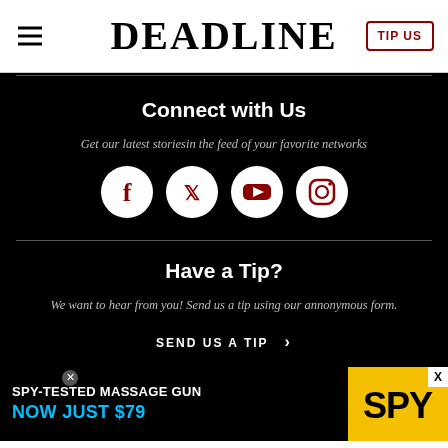DEADLINE
Connect with Us
Get our latest storiesin the feed of your favorite networks
[Figure (illustration): Four social media icons in white circles: Facebook, Twitter, YouTube, Instagram]
Have a Tip?
We want to hear from you! Send us a tip using our annonymous form.
SEND US A TIP >
[Figure (infographic): Advertisement banner: SPY-TESTED MASSAGE GUN NOW JUST $79 with SPY logo on yellow background]